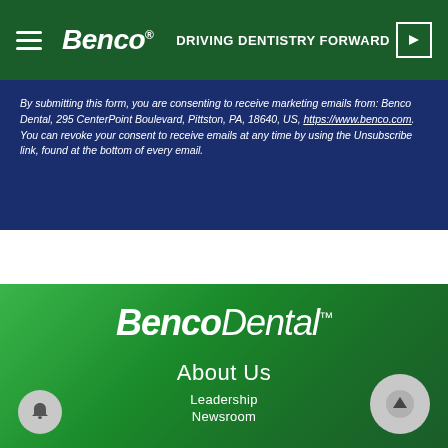Benco® — DRIVING DENTISTRY FORWARD
By submitting this form, you are consenting to receive marketing emails from: Benco Dental, 295 CenterPoint Boulevard, Pittston, PA, 18640, US, https://www.benco.com. You can revoke your consent to receive emails at any time by using the Unsubscribe link, found at the bottom of every email.
[Figure (logo): BencoDental logo in white italic text on green gradient background]
About Us
Leadership
Newsroom